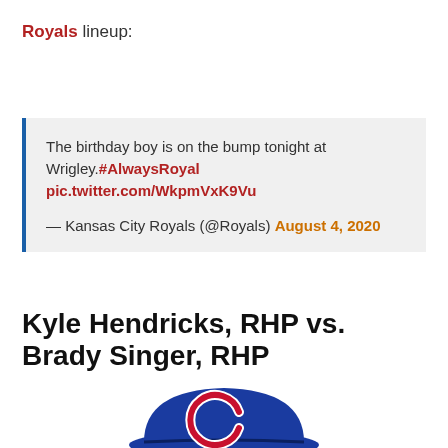Royals lineup:
The birthday boy is on the bump tonight at Wrigley.#AlwaysRoyal pic.twitter.com/WkpmVxK9Vu
— Kansas City Royals (@Royals) August 4, 2020
Kyle Hendricks, RHP vs. Brady Singer, RHP
[Figure (photo): Chicago Cubs baseball cap with blue cap and white C logo with red outline, partially cropped at bottom of page]